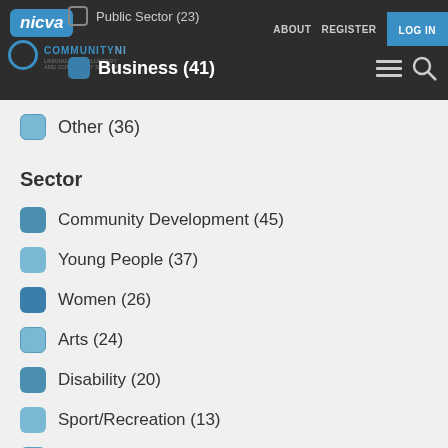NICVA | Community NI | ABOUT | REGISTER | LOG IN
Public Sector (23)
Business (41)
Other (36)
Sector
Community Development (45)
Young People (37)
Women (26)
Arts (24)
Disability (20)
Sport/Recreation (13)
Carers (12)